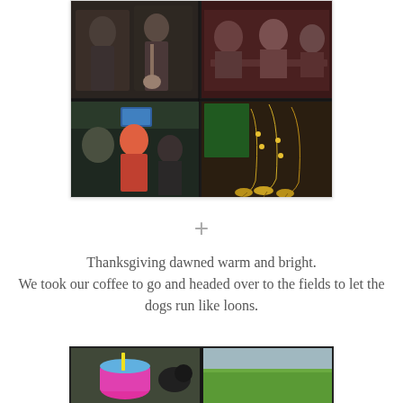[Figure (photo): A collage of four photos showing people at what appears to be a bar or restaurant with live music. Top left shows people with instruments, top right shows people seated at a table, bottom left shows a group at a table with a TV screen, bottom right shows saxophones on stands.]
+
Thanksgiving dawned warm and bright.
We took our coffee to go and headed over to the fields to let the dogs run like loons.
[Figure (photo): A collage of two photos: left shows a colorful drink cup being held with a dog in the background, right shows an open green field.]